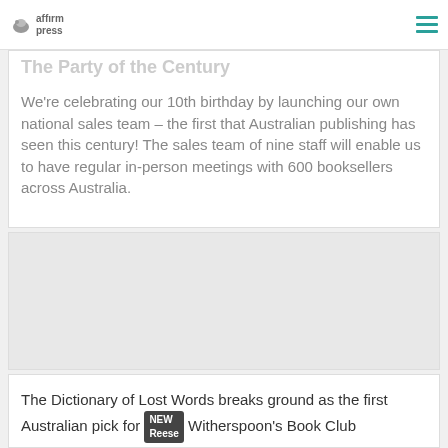affırm press
We're celebrating our 10th birthday by launching our own national sales team – the first that Australian publishing has seen this century! The sales team of nine staff will enable us to have regular in-person meetings with 600 booksellers across Australia.
[Figure (photo): Image placeholder area (second card, content not visible)]
The Dictionary of Lost Words breaks ground as the first Australian pick for Reese Witherspoon's Book Club